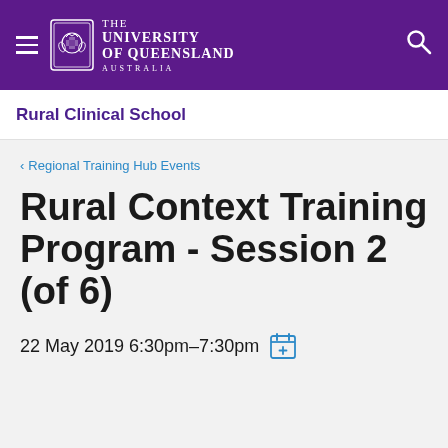The University of Queensland Australia
Rural Clinical School
< Regional Training Hub Events
Rural Context Training Program - Session 2 (of 6)
22 May 2019 6:30pm–7:30pm